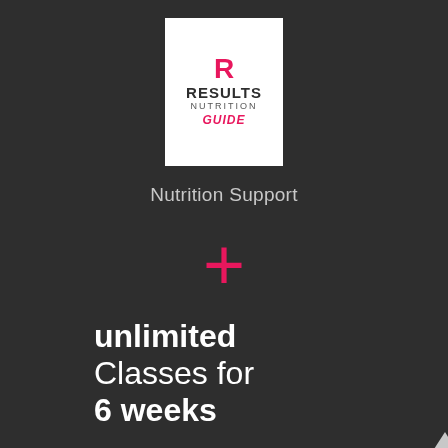[Figure (logo): Results Nutrition Guide logo — white box with pink R symbol, bold RESULTS text, NUTRITION in grey, GUIDE in pink italic]
Nutrition Support
+
unlimited Classes for 6 weeks
[Figure (other): Small upward-pointing triangle arrow in bottom right corner]